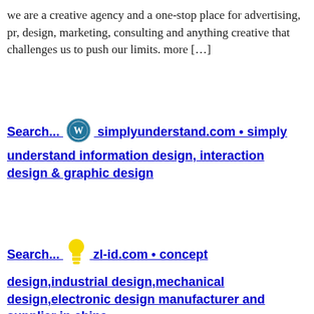we are a creative agency and a one-stop place for advertising, pr, design, marketing, consulting and anything creative that challenges us to push our limits. more […]
Search... simplyunderstand.com • simply understand information design, interaction design & graphic design
Search... zl-id.com • concept design,industrial design,mechanical design,electronic design manufacturer and supplier in china